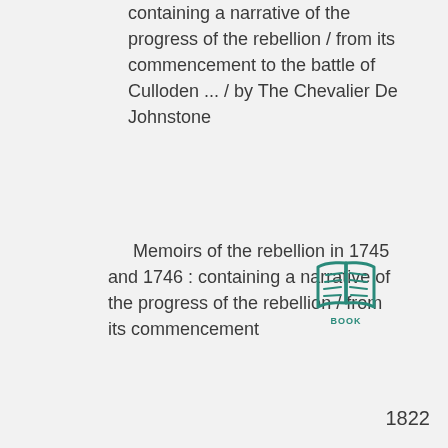containing a narrative of the progress of the rebellion / from its commencement to the battle of Culloden ... / by The Chevalier De Johnstone
Memoirs of the rebellion in 1745 and 1746 : containing a narrative of the progress of the rebellion / from its commencement
[Figure (illustration): Open book icon in teal/green color with 'BOOK' label below]
1822